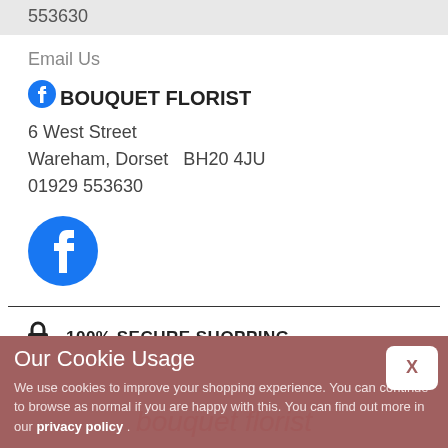553630
Email Us
BOUQUET FLORIST
6 West Street
Wareham, Dorset  BH20 4JU
01929 553630
[Figure (logo): Facebook logo icon (large, blue circle with white f)]
100% SECURE SHOPPING
Our Cookie Usage
We use cookies to improve your shopping experience. You can continue to browse as normal if you are happy with this. You can find out more in our privacy policy .